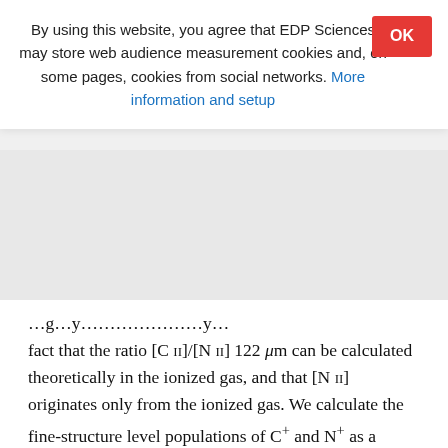By using this website, you agree that EDP Sciences may store web audience measurement cookies and, on some pages, cookies from social networks. More information and setup
fact that the ratio [C II]/[N II] 122 μm can be calculated theoretically in the ionized gas, and that [N II] originates only from the ionized gas. We calculate the fine-structure level populations of C+ and N+ as a function of